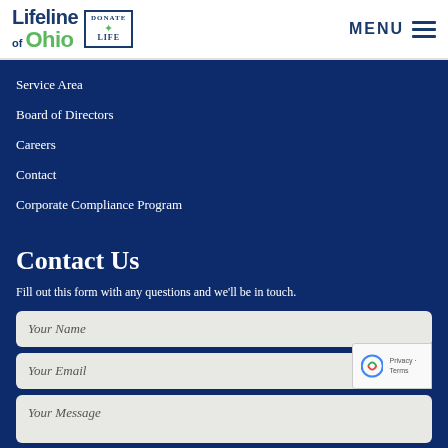Lifeline of Ohio | DONATE LIFE | MENU
Service Area
Board of Directors
Careers
Contact
Corporate Compliance Program
Contact Us
Fill out this form with any questions and we'll be in touch.
Your Name
Your Email
Your Message